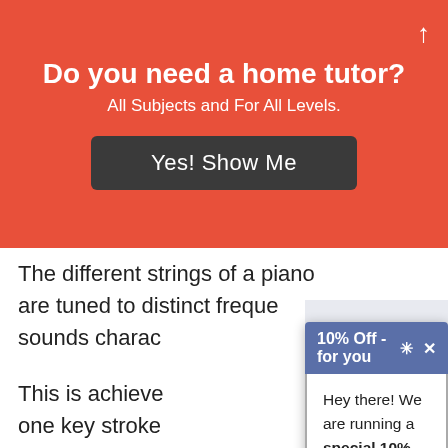Do you need a home tutor?
All Subjects and For All Levels.
Yes! Show Me
The different strings of a piano are tuned to distinct freque… sounds charac…
This is achieve… one key stroke…
Keys are hit re… piano's sound… strokes only la…
An organ keyb… creates sound electronically when a key is
[Figure (screenshot): Popup dialog with header '10% Off - for you' on blue background, containing text: 'Hey there! We are running a special 10% off this month for new students – like you. Use coupon LOYALTY20 during checkout.']